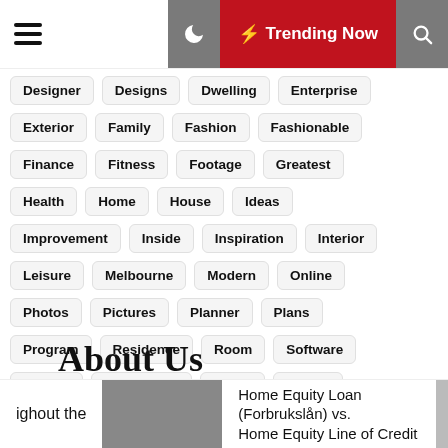☰ | 🌙 ⚡ Trending Now 🔍
Designer
Designs
Dwelling
Enterprise
Exterior
Family
Fashion
Fashionable
Finance
Fitness
Footage
Greatest
Health
Home
House
Ideas
Improvement
Inside
Inspiration
Interior
Leisure
Melbourne
Modern
Online
Photos
Pictures
Planner
Plans
Program
Residence
Room
Software
Special
Technology
Travel
Trends
Trendy
About Us
ighout the
Home Equity Loan (Forbrukslån) vs. Home Equity Line of Credit